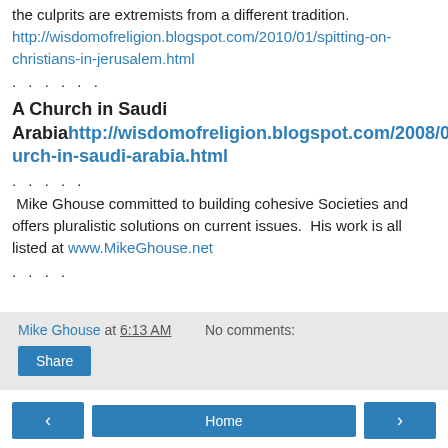the culprits are extremists from a different tradition. http://wisdomofreligion.blogspot.com/2010/01/spitting-on-christians-in-jerusalem.html
. . . . . .
A Church in Saudi Arabia
http://wisdomofreligion.blogspot.com/2008/03/church-in-saudi-arabia.html
. . . . .
Mike Ghouse committed to building cohesive Societies and offers pluralistic solutions on current issues. His work is all listed at www.MikeGhouse.net
. . . .
Mike Ghouse at 6:13 AM   No comments:
Share
Home